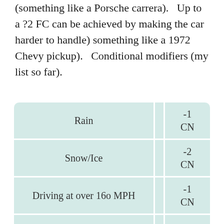(something like a Porsche carrera).  Up to a ?2 FC can be achieved by making the car harder to handle) something like a 1972 Chevy pickup).  Conditional modifiers (my list so far).
| Condition |  | Modifier |
| --- | --- | --- |
| Rain |  | -1
CN |
| Snow/Ice |  | -2
CN |
| Driving at over 160 MPH |  | -1
CN |
|  |  | -2 |